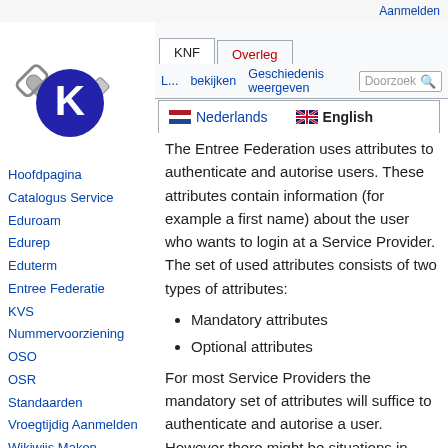Aanmelden
[Figure (logo): KDE-style tools logo with wrench, screwdriver, and blue K circle]
KNF  Overleg
Lezen  Bewerken  Geschiedenis weergeven  Doorzoek
Nederlands  English
Hoofdpagina
Catalogus Service
Eduroam
Edurep
Eduterm
Entree Federatie
KVS
Nummervoorziening
OSO
OSR
Standaarden
Vroegtijdig Aanmelden
Wikiwijs Maken
Recente wijzigingen
The Entree Federation uses attributes to authenticate and autorise users. These attributes contain information (for example a first name) about the user who wants to login at a Service Provider. The set of used attributes consists of two types of attributes:
Mandatory attributes
Optional attributes
For most Service Providers the mandatory set of attributes will suffice to authenticate and autorise a user. However there might be situations in